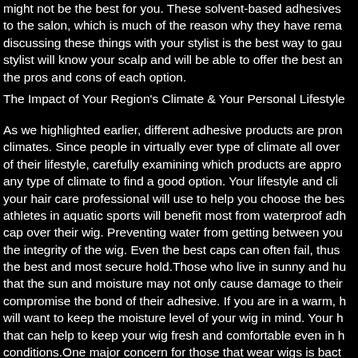might not be the best for you. These solvent-based adhesives to the salon, which is much of the reason why they have rema discussing these things with your stylist is the best way to gau stylist will know your scalp and will be able to offer the best an the pros and cons of each option.
The Impact of Your Region's Climate & Your Personal Lifestyle
As we highlighted earlier, different adhesive products are pron climates. Since people in virtually ever type of climate all over of their lifestyle, carefully examining which products are appro any type of climate to find a good option. Your lifestyle and cli your hair care professional will use to help you choose the bes athletes in aquatic sports will benefit most from waterproof adh cap over their wig. Preventing water from getting between you the integrity of the wig. Even the best caps can often fail, thus the best and most secure hold.Those who live in sunny and hu that the sun and moisture may not only cause damage to their compromise the bond of their adhesive. If you are in a warm, h will want to keep the moisture level of your wig in mind. Your h that can help to keep your wig fresh and comfortable even in h conditions.One major concern for those that wear wigs is bact overgrowth to occur when it is hot and humid and the scalp is microbial adhesive formulas can be extremely valuable to the These will help to prevent upsetting odors that often occur with